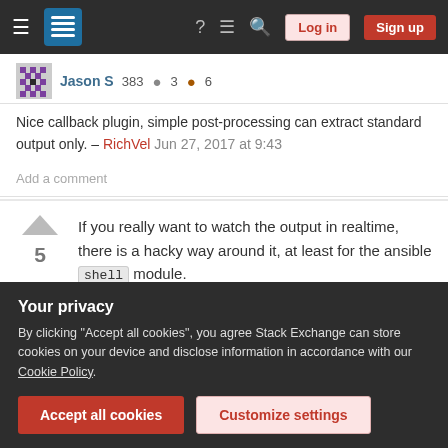Stack Exchange navigation bar with Log in and Sign up buttons
Jason S 383 ● 3 ● 6
Nice callback plugin, simple post-processing can extract standard output only. – RichVel Jun 27, 2017 at 9:43
Add a comment
If you really want to watch the output in realtime, there is a hacky way around it, at least for the ansible shell module.
Your privacy
By clicking "Accept all cookies", you agree Stack Exchange can store cookies on your device and disclose information in accordance with our Cookie Policy.
will be left dangling.